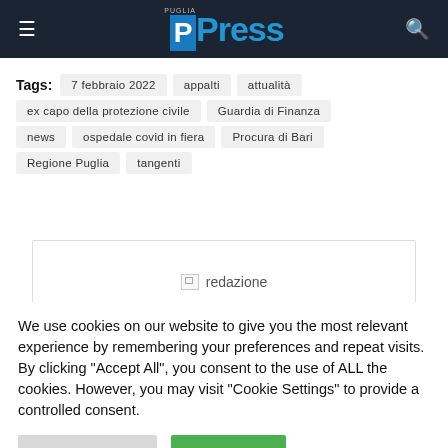Puglia PPress quotidiano online
Tags: 7 febbraio 2022  appalti  attualità  ex capo della protezione civile  Guardia di Finanza  news  ospedale covid in fiera  Procura di Bari  Regione Puglia  tangenti
[Figure (photo): Broken image placeholder with text 'redazione']
We use cookies on our website to give you the most relevant experience by remembering your preferences and repeat visits. By clicking "Accept All", you consent to the use of ALL the cookies. However, you may visit "Cookie Settings" to provide a controlled consent.